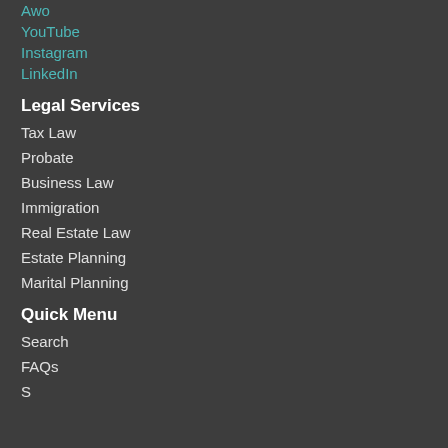Awo
YouTube
Instagram
LinkedIn
Legal Services
Tax Law
Probate
Business Law
Immigration
Real Estate Law
Estate Planning
Marital Planning
Quick Menu
Search
FAQs
S…